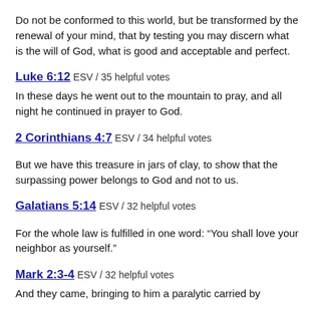Do not be conformed to this world, but be transformed by the renewal of your mind, that by testing you may discern what is the will of God, what is good and acceptable and perfect.
Luke 6:12 ESV / 35 helpful votes
In these days he went out to the mountain to pray, and all night he continued in prayer to God.
2 Corinthians 4:7 ESV / 34 helpful votes
But we have this treasure in jars of clay, to show that the surpassing power belongs to God and not to us.
Galatians 5:14 ESV / 32 helpful votes
For the whole law is fulfilled in one word: “You shall love your neighbor as yourself.”
Mark 2:3-4 ESV / 32 helpful votes
And they came, bringing to him a paralytic carried by